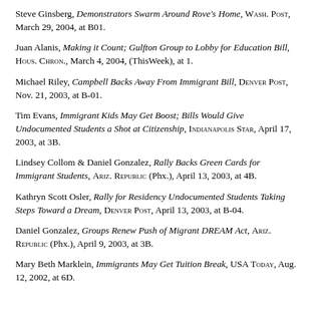Steve Ginsberg, Demonstrators Swarm Around Rove's Home, Wash. Post, March 29, 2004, at B01.
Juan Alanis, Making it Count; Gulfton Group to Lobby for Education Bill, Hous. Chron., March 4, 2004, (ThisWeek), at 1.
Michael Riley, Campbell Backs Away From Immigrant Bill, Denver Post, Nov. 21, 2003, at B-01.
Tim Evans, Immigrant Kids May Get Boost; Bills Would Give Undocumented Students a Shot at Citizenship, Indianapolis Star, April 17, 2003, at 3B.
Lindsey Collom & Daniel Gonzalez, Rally Backs Green Cards for Immigrant Students, Ariz. Republic (Phx.), April 13, 2003, at 4B.
Kathryn Scott Osler, Rally for Residency Undocumented Students Taking Steps Toward a Dream, Denver Post, April 13, 2003, at B-04.
Daniel Gonzalez, Groups Renew Push of Migrant DREAM Act, Ariz. Republic (Phx.), April 9, 2003, at 3B.
Mary Beth Marklein, Immigrants May Get Tuition Break, USA Today, Aug. 12, 2002, at 6D.